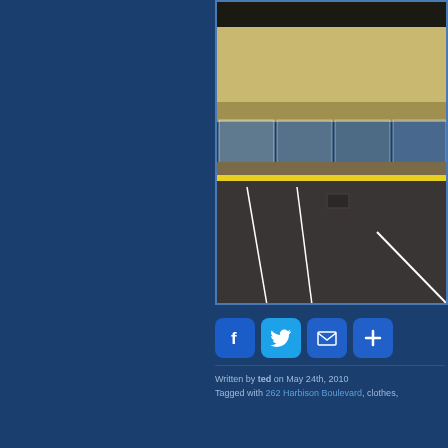[Figure (photo): Night photograph of a retail strip mall storefront with large windows, beige/tan stucco facade, yellow curb stripe, and empty parking lot in the foreground]
[Figure (infographic): Row of four social sharing buttons: Facebook (f), Twitter (bird), Email (envelope), and Add/More (+), all on blue rounded-square backgrounds]
Written by ted on May 24th, 2010
Tagged with 262 Harbison Boulevard, clothes,